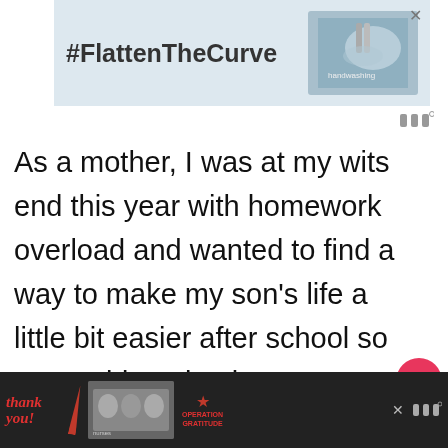[Figure (screenshot): Advertisement banner with #FlattenTheCurve hashtag and handwashing image with a close (X) button]
[Figure (logo): Wordmark logo (three vertical bars with degree symbol) in gray]
As a mother, I was at my wits end this year with homework overload and wanted to find a way to make my son’s life a little bit easier after school so we could get back some family time and much needed play time for my kids.
[Figure (other): Heart (like) button circle in pink/red with count of 11, and share button circle]
[Figure (other): WHAT'S NEXT panel with thumbnail and text 'How Busy Moms Can...']
I was able to come up with some ways to
[Figure (screenshot): Bottom advertisement banner with 'Thank you!' text in red, nurses photo, Operation Gratitude logo, close button, and wordmark]